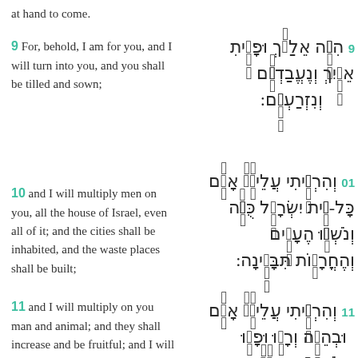at hand to come.
9 For, behold, I am for you, and I will turn into you, and you shall be tilled and sown;
9 הִנֵּה אֵלַיִךְ וּפָנִיתִי אֵלַיִךְ וְנֶעֱבַדְתֶּם וְנִזְרַעְתֶּם:
10 and I will multiply men on you, all the house of Israel, even all of it; and the cities shall be inhabited, and the waste places shall be built;
10 וְהִרְבֵּיתִי עֲלֵיכֶם אָדָם כָּל-בֵּית יִשְׂרָאֵל כֻּלֹּה וְנֹשְׁבוּ הֶעָרִים וְהֶחֳרָבוֹת תִּבָּנֶינָה:
11 and I will multiply on you man and animal; and they shall increase and be fruitful; and I will cause you
11 וְהִרְבֵּיתִי עֲלֵיכֶם אָדָם וּבְהֵמָה וְרָבוּ וּפָרוּ וְהוֹשַׁבְתִּי אֶתְכֶם